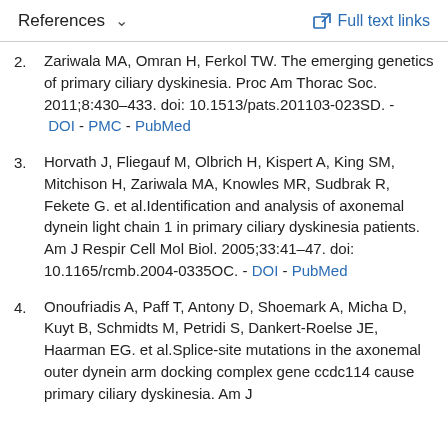References   ˅   Full text links
2. Zariwala MA, Omran H, Ferkol TW. The emerging genetics of primary ciliary dyskinesia. Proc Am Thorac Soc. 2011;8:430–433. doi: 10.1513/pats.201103-023SD. - DOI - PMC - PubMed
3. Horvath J, Fliegauf M, Olbrich H, Kispert A, King SM, Mitchison H, Zariwala MA, Knowles MR, Sudbrak R, Fekete G. et al.Identification and analysis of axonemal dynein light chain 1 in primary ciliary dyskinesia patients. Am J Respir Cell Mol Biol. 2005;33:41–47. doi: 10.1165/rcmb.2004-0335OC. - DOI - PubMed
4. Onoufriadis A, Paff T, Antony D, Shoemark A, Micha D, Kuyt B, Schmidts M, Petridi S, Dankert-Roelse JE, Haarman EG. et al.Splice-site mutations in the axonemal outer dynein arm docking complex gene ccdc114 cause primary ciliary dyskinesia. Am J